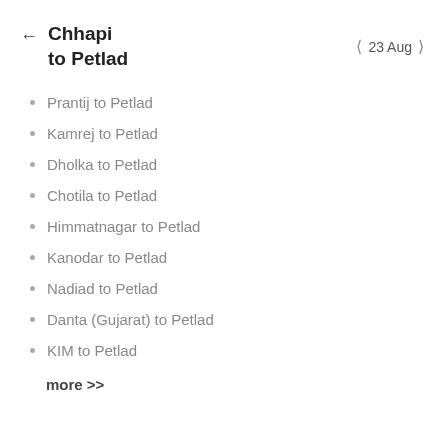Chhapi to Petlad   23 Aug
Prantij to Petlad
Kamrej to Petlad
Dholka to Petlad
Chotila to Petlad
Himmatnagar to Petlad
Kanodar to Petlad
Nadiad to Petlad
Danta (Gujarat) to Petlad
KIM to Petlad
more >>